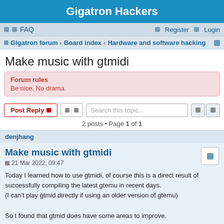Gigatron Hackers
FAQ  Register  Login
Gigatron forum › Board index › Hardware and software hacking
Make music with gtmidi
Forum rules
Be nice. No drama.
Post Reply  Search this topic...
2 posts • Page 1 of 1
denjhang
Make music with gtmidi
21 Mar 2022, 09:47
Today I learned how to use gtmidi, of course this is a direct result of successfully compiling the latest gtemu in recent days.
(I can't play gtmid directly if using an older version of gtemu)

So I found that gtmid does have some areas to improve.